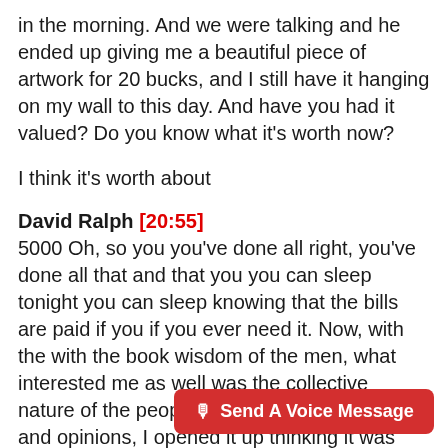in the morning. And we were talking and he ended up giving me a beautiful piece of artwork for 20 bucks, and I still have it hanging on my wall to this day. And have you had it valued? Do you know what it's worth now?
I think it's worth about
David Ralph [20:55]
5000 Oh, so you you've done all right, you've done all that and that you you can sleep tonight you can sleep knowing that the bills are paid if you if you ever need it. Now, with the with the book wisdom of the men, what interested me as well was the collective nature of the people that you can burst stories and opinions, I opened it up thinking it was going to be all sort of huge A listers. And it's not it Brendan Bouchard, which a lot of people may
Send A Voice Message